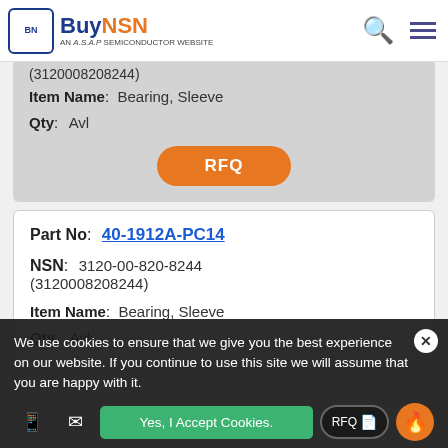BuyNSN - AN A.S.A.P SEMICONDUCTOR WEBSITE
(3120008208244)
Item Name: Bearing, Sleeve
Qty: Avl
RFQ
Part No: 40-1912A-PC14
NSN: 3120-00-820-8244 (3120008208244)
Item Name: Bearing, Sleeve
Qty: Avl
We use cookies to ensure that we give you the best experience on our website. If you continue to use this site we will assume that you are happy with it.
Yes, I Accept Cookies.